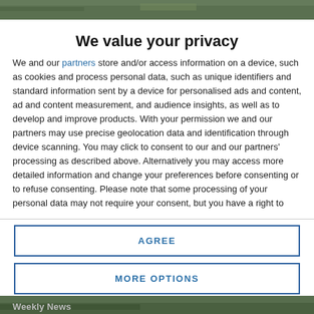[Figure (photo): Partial photo of outdoor/nature scene at top of page]
We value your privacy
We and our partners store and/or access information on a device, such as cookies and process personal data, such as unique identifiers and standard information sent by a device for personalised ads and content, ad and content measurement, and audience insights, as well as to develop and improve products. With your permission we and our partners may use precise geolocation data and identification through device scanning. You may click to consent to our and our partners' processing as described above. Alternatively you may access more detailed information and change your preferences before consenting or to refuse consenting. Please note that some processing of your personal data may not require your consent, but you have a right to
AGREE
MORE OPTIONS
[Figure (photo): Partial photo of outdoor/nature scene at bottom of page with partial text 'Weekly News']